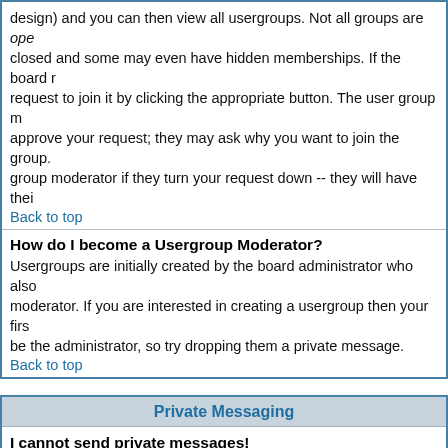design) and you can then view all usergroups. Not all groups are open, closed and some may even have hidden memberships. If the board requires you to request to join it by clicking the appropriate button. The user group moderator will need to approve your request; they may ask why you want to join the group. Please do not harass a group moderator if they turn your request down -- they will have their reasons.
Back to top
How do I become a Usergroup Moderator?
Usergroups are initially created by the board administrator who also assigns a board moderator. If you are interested in creating a usergroup then your first point of contact should be the administrator, so try dropping them a private message.
Back to top
Private Messaging
I cannot send private messages!
There are three reasons for this; you are not registered and/or not logged on, the board administrator has disabled private messaging for the entire board, or the board administrator has prevented you individually from sending messages. If it is the latter case you should try asking the administrator why.
Back to top
I keep getting unwanted private messages!
In the future we will be adding an ignore list to the private messaging system. For now, though, if you keep receiving unwanted private messages from someone, inform the board moderator -- they have the power to prevent a user from sending private messages at all.